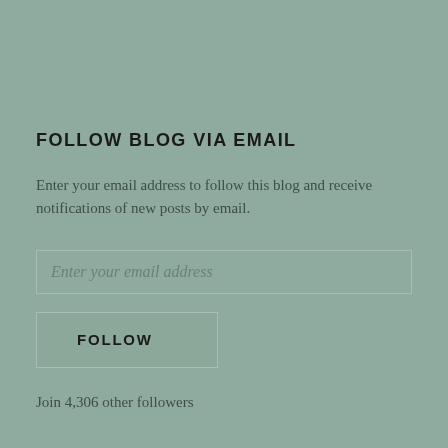FOLLOW BLOG VIA EMAIL
Enter your email address to follow this blog and receive notifications of new posts by email.
Enter your email address
FOLLOW
Join 4,306 other followers